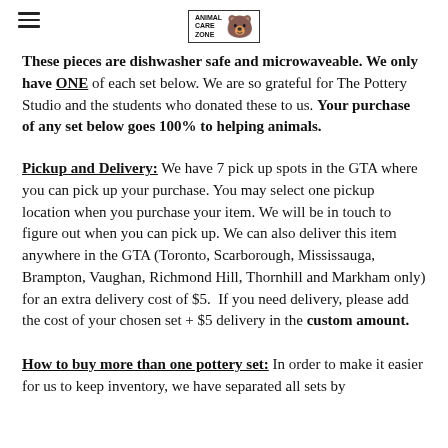Animal Care Zone logo and hamburger menu
These pieces are dishwasher safe and microwaveable. We only have ONE of each set below. We are so grateful for The Pottery Studio and the students who donated these to us. Your purchase of any set below goes 100% to helping animals.
Pickup and Delivery: We have 7 pick up spots in the GTA where you can pick up your purchase. You may select one pickup location when you purchase your item. We will be in touch to figure out when you can pick up. We can also deliver this item anywhere in the GTA (Toronto, Scarborough, Mississauga, Brampton, Vaughan, Richmond Hill, Thornhill and Markham only) for an extra delivery cost of $5.  If you need delivery, please add the cost of your chosen set + $5 delivery in the custom amount.
How to buy more than one pottery set: In order to make it easier for us to keep inventory, we have separated all sets by